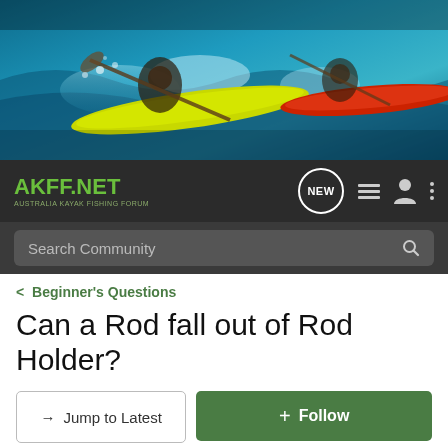[Figure (photo): Hero banner showing kayakers paddling vigorously on water, with colorful kayaks (yellow, red) and splashing water. Action sports photography.]
AKFF.NET — AUSTRALIA KAYAK FISHING FORUM
Search Community
< Beginner's Questions
Can a Rod fall out of Rod Holder?
→ Jump to Latest
+ Follow
1 - 6 of 6 Posts
vuki · Registered
Joined Feb 10, 2006 · 161 Posts